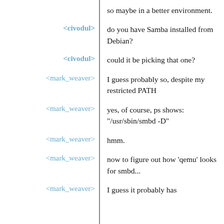so maybe in a better environment.
<civodul> do you have Samba installed from Debian?
<civodul> could it be picking that one?
<mark_weaver> I guess probably so, despite my restricted PATH
<mark_weaver> yes, of course, ps shows: "/usr/sbin/smbd -D"
<mark_weaver> hmm.
<mark_weaver> now to figure out how 'qemu' looks for smbd...
<mark_weaver> I guess it probably has